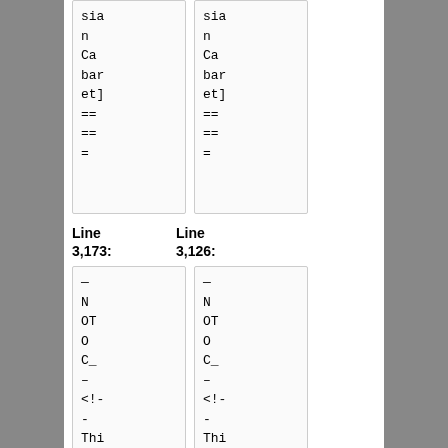| sia
n
Ca
bar
et]
==
==
= | sia
n
Ca
bar
et]
==
==
= |
Line 3,173:  Line 3,126:
| —
N
OT
O
C_
—
<!--
-
This
re
mo
ve
s | —
N
OT
O
C_
—
<!--
-
This
re
mo
ve
s |